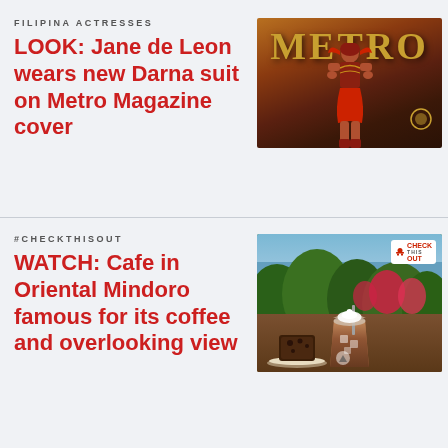FILIPINA ACTRESSES
LOOK: Jane de Leon wears new Darna suit on Metro Magazine cover
[Figure (photo): Metro Magazine cover featuring Jane de Leon in a red and gold Darna suit, with the word METRO in large gold letters]
#CHECKTHISOUT
WATCH: Cafe in Oriental Mindoro famous for its coffee and overlooking view
[Figure (photo): Outdoor cafe scene in Oriental Mindoro showing coffee drinks and chocolate cake on a table with tropical greenery and sea view in background, Check This Out logo overlay]